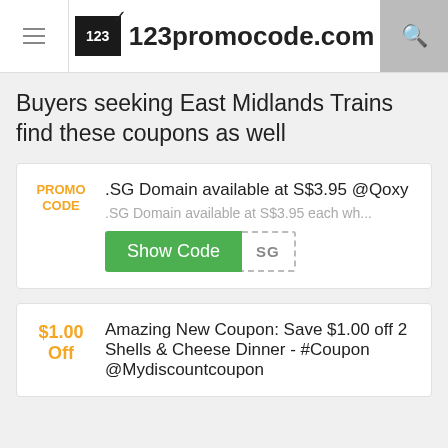123promocode.com
Buyers seeking East Midlands Trains find these coupons as well
PROMO CODE — .SG Domain available at S$3.95 @Qoxy — .SG Domain available at S$3.95 each wh... — Show Code | SG
$1.00 Off — Amazing New Coupon: Save $1.00 off 2 Shells & Cheese Dinner - #Coupon @Mydiscountcoupon